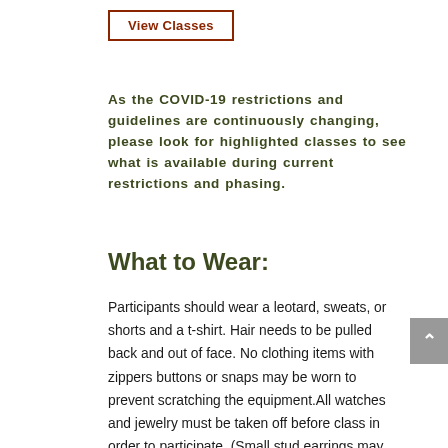View Classes
As the COVID-19 restrictions and guidelines are continuously changing, please look for highlighted classes to see what is available during current restrictions and phasing.
What to Wear:
Participants should wear a leotard, sweats, or shorts and a t-shirt. Hair needs to be pulled back and out of face. No clothing items with zippers buttons or snaps may be worn to prevent scratching the equipment.All watches and jewelry must be taken off before class in order to participate. (Small stud earrings may be worn)